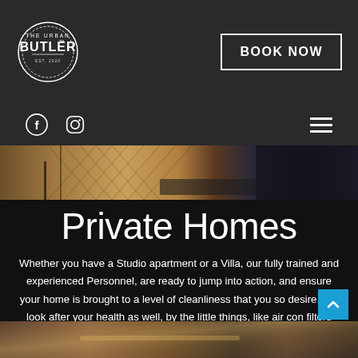THE URBAN BUTLER™ | BOOK NOW
[Figure (screenshot): Website header with The Urban Butler logo circle on left and BOOK NOW button on right, dark gray background]
[Figure (photo): Partial interior room photo showing herringbone wood floor and dark walls]
Private Homes
Whether you have a Studio apartment or a Villa, our fully trained and experienced Personnel, are ready to jump into action, and ensure your home is brought to a level of cleanliness that you so desire. We look after your health as well, by the little things, like air con filters and the like, and making sure you enjoy the fresh, clean look and feel of your home.
[Figure (photo): Bottom portion of interior room photo at base of page]